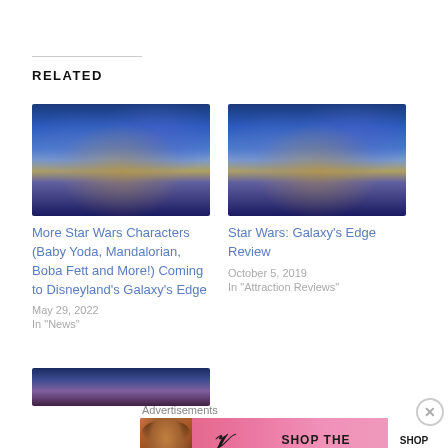RELATED
[Figure (photo): Star Wars Galaxy's Edge themed area at night with blue lights and futuristic architecture]
More Star Wars Characters (Baby Yoda, Mandalorian, Boba Fett and More!) Coming to Disneyland's Galaxy's Edge
May 29, 2022
In "News"
[Figure (photo): Star Wars Galaxy's Edge themed area at night with blue lights and futuristic architecture]
Star Wars: Galaxy's Edge Review
October 5, 2019
In "Attraction Reviews"
[Figure (photo): Partial view of Star Wars themed area]
Advertisements
[Figure (photo): Victoria's Secret advertisement banner - Shop The Collection - Shop Now]